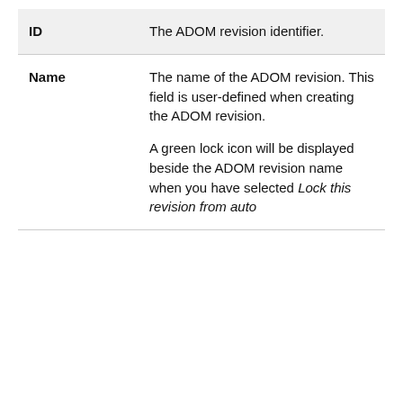| Field | Description |
| --- | --- |
| ID | The ADOM revision identifier. |
| Name | The name of the ADOM revision. This field is user-defined when creating the ADOM revision.

A green lock icon will be displayed beside the ADOM revision name when you have selected Lock this revision from auto |
This site uses cookies. Some are essential to the operation of the site; others help us improve the user experience. By continuing to use the site, you consent to the use of these cookies. To learn more about cookies, please read our privacy policy.